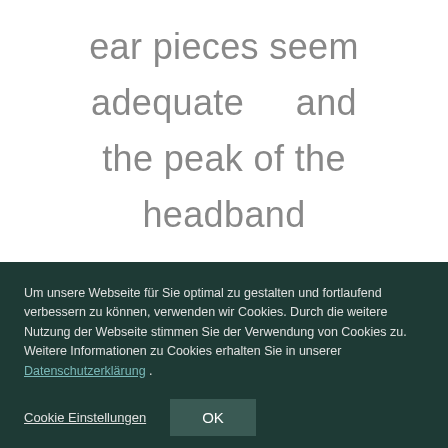ear pieces seem adequate and the peak of the headband
Um unsere Webseite für Sie optimal zu gestalten und fortlaufend verbessern zu können, verwenden wir Cookies. Durch die weitere Nutzung der Webseite stimmen Sie der Verwendung von Cookies zu. Weitere Informationen zu Cookies erhalten Sie in unserer Datenschutzerklärung .
Cookie Einstellungen
OK